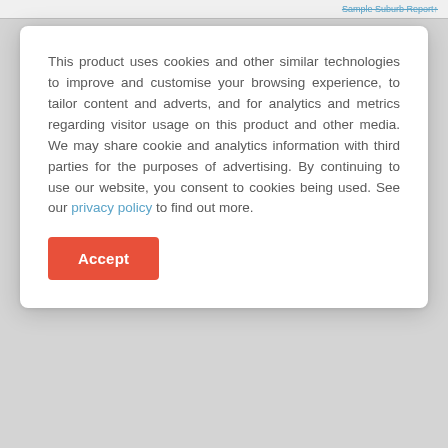Sample Suburb Report↑
This product uses cookies and other similar technologies to improve and customise your browsing experience, to tailor content and adverts, and for analytics and metrics regarding visitor usage on this product and other media. We may share cookie and analytics information with third parties for the purposes of advertising. By continuing to use our website, you consent to cookies being used. See our privacy policy to find out more.
Accept